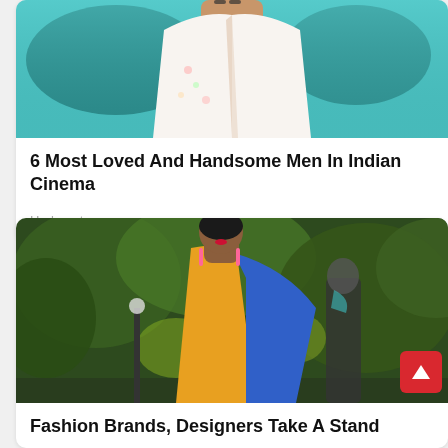[Figure (photo): Photo of a man in a white floral shirt with chest partially visible, teal/blue-green background suggesting outdoor scenery]
6 Most Loved And Handsome Men In Indian Cinema
Herbeauty
[Figure (photo): Photo of a woman in a yellow halter dress with a blue shawl/cape, red lipstick, dangling earrings, outdoors with green foliage background; another person visible behind her]
Fashion Brands, Designers Take A Stand